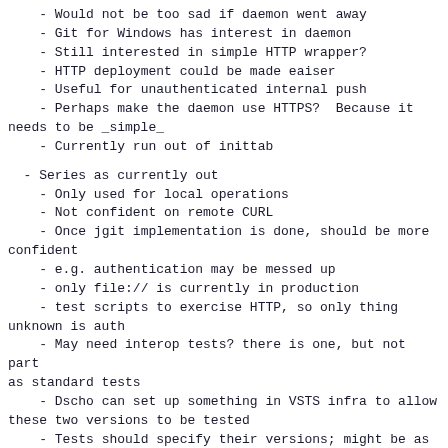- Would not be too sad if daemon went away
- Git for Windows has interest in daemon
- Still interested in simple HTTP wrapper?
- HTTP deployment could be made eaiser
- Useful for unauthenticated internal push
- Perhaps make the daemon use HTTPS?  Because it needs to be _simple_
- Currently run out of inittab
- Series as currently out
- Only used for local operations
- Not confident on remote CURL
- Once jgit implementation is done, should be more confident
- e.g. authentication may be messed up
- only file:// is currently in production
- test scripts to exercise HTTP, so only thing unknown is auth
- May need interop tests? there is one, but not part as standard tests
- Dscho can set up something in VSTS infra to allow these two versions to be tested
- Tests should specify their versions; might be as simple as `cd ...; make` and maybe they should be in Travis
Serialized commit graph (stolee)
-----------------------------------
- current patch includes a way to write a file which